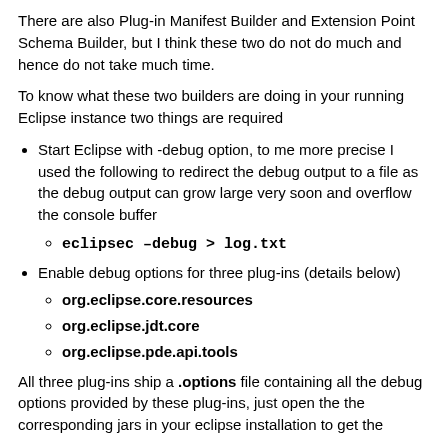There are also Plug-in Manifest Builder and Extension Point Schema Builder, but I think these two do not do much and hence do not take much time.
To know what these two builders are doing in your running Eclipse instance two things are required
Start Eclipse with -debug option, to me more precise I used the following to redirect the debug output to a file as the debug output can grow large very soon and overflow the console buffer
eclipsec –debug > log.txt
Enable debug options for three plug-ins (details below)
org.eclipse.core.resources
org.eclipse.jdt.core
org.eclipse.pde.api.tools
All three plug-ins ship a .options file containing all the debug options provided by these plug-ins, just open the the corresponding jars in your eclipse installation to get the